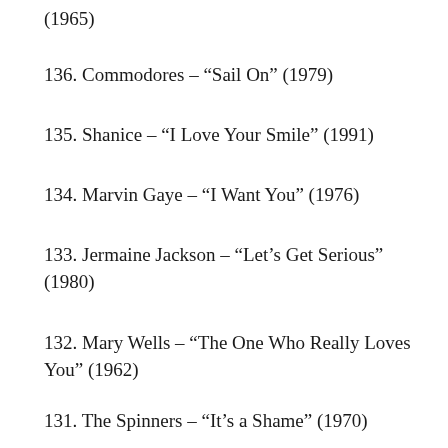(1965)
136. Commodores – “Sail On” (1979)
135. Shanice – “I Love Your Smile” (1991)
134. Marvin Gaye – “I Want You” (1976)
133. Jermaine Jackson – “Let’s Get Serious” (1980)
132. Mary Wells – “The One Who Really Loves You” (1962)
131. The Spinners – “It’s a Shame” (1970)